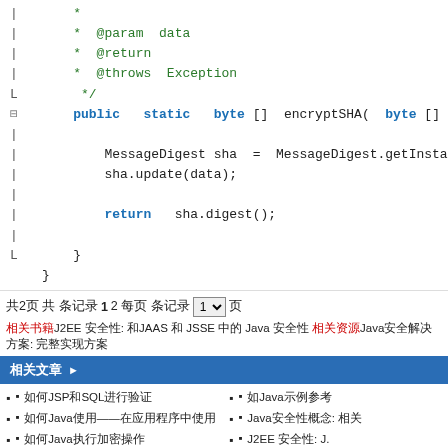[Figure (screenshot): Java source code snippet showing a method encryptSHA with Javadoc comments including @param data, @return, @throws Exception, and method body using MessageDigest with sha.update(data) and return sha.digest()]
共2页 共 条记录 1 2 每页 条记录 [1 ▼] 页
相关书籍J2EE 安全性: JAAS 和 JSSE 中的 Java 安全性 相关资源Java安全解决方案: 完整实现方案
相关文章
如何JSP和SQL进行验证
如何Java使用——在应用程序中使用
如何Java执行加密操作
如Java示例参考
如Java示例参考
Java安全性概念: 相关
J2EE 安全性: J.
如Java示例参考